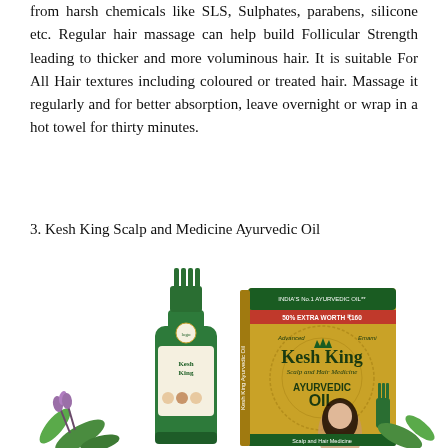from harsh chemicals like SLS, Sulphates, parabens, silicone etc. Regular hair massage can help build Follicular Strength leading to thicker and more voluminous hair. It is suitable For All Hair textures including coloured or treated hair. Massage it regularly and for better absorption, leave overnight or wrap in a hot towel for thirty minutes.
3. Kesh King Scalp and Medicine Ayurvedic Oil
[Figure (photo): Product photo of Kesh King Scalp and Hair Medicine Ayurvedic Oil — showing a green bottle with a comb applicator top, and the product box (gold/green packaging) with the Kesh King logo, text 'INDIA'S No.1 AYURVEDIC OIL', '50% EXTRA WORTH ₹160', 'AYURVEDIC OIL', and a woman with long hair. Herb sprigs visible at bottom.]